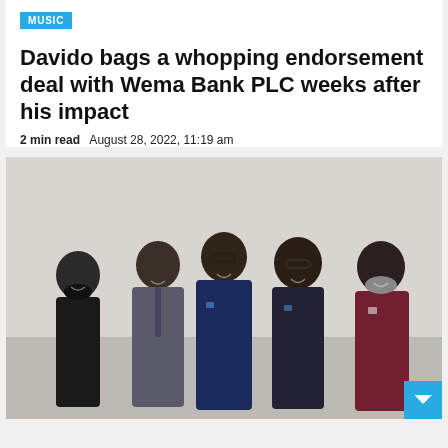MUSIC
Davido bags a whopping endorsement deal with Wema Bank PLC weeks after his impact
2 min read   August 28, 2022, 11:19 am
[Figure (photo): Five men in formal attire standing together smiling, posing for a group photo against a light background at what appears to be a press event or signing ceremony.]